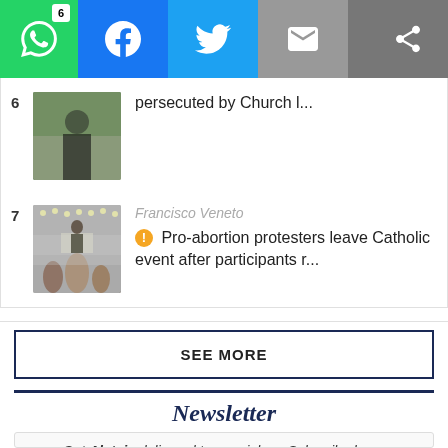[Figure (screenshot): Social share bar with WhatsApp (badge 6), Facebook, Twitter, Email, and More buttons]
persecuted by Church l... [item 6 with thumbnail]
Francisco Veneto - Pro-abortion protesters leave Catholic event after participants r...
SEE MORE
Newsletter
Get Aleteia delivered to your inbox. Subscribe here.